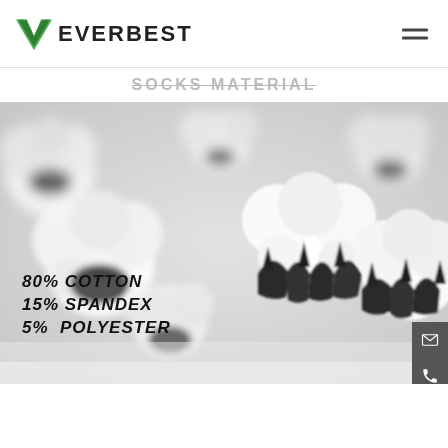[Figure (logo): Everbest company logo with green V-shaped checkmark and bold text EVERBEST]
SOCKS MATERIAL
[Figure (photo): Close-up black and white photo of cotton bolls/flowers on white background with text overlay: 80% COTTON, 15% SPANDEX, 5% POLYESTER]
80% COTTON
15% SPANDEX
5% POLYESTER